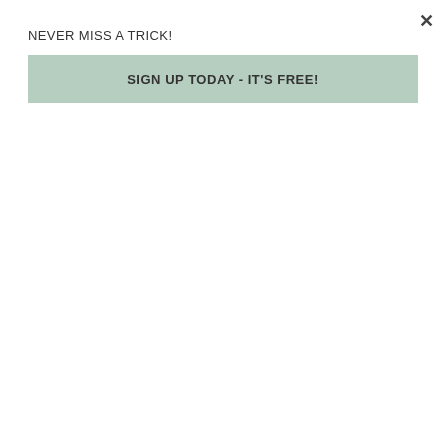NEVER MISS A TRICK!
SIGN UP TODAY - IT'S FREE!
time.
ME: What's next for you Jessica?
JESS: Lots actually! We've been hard at work on a brick and mortar for my special order bakery, and that should be opening within the next couple months. And after that, we've got the arrival of our next vegan chickpea who's set to make her appearance in late September! Plenty to keep our home and our hearts full.
Click here to view THE NADEL'S BIG REVEAL (shared